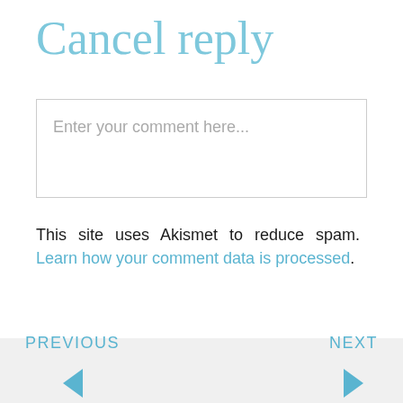Cancel reply
Enter your comment here...
This site uses Akismet to reduce spam. Learn how your comment data is processed.
PREVIOUS   NEXT